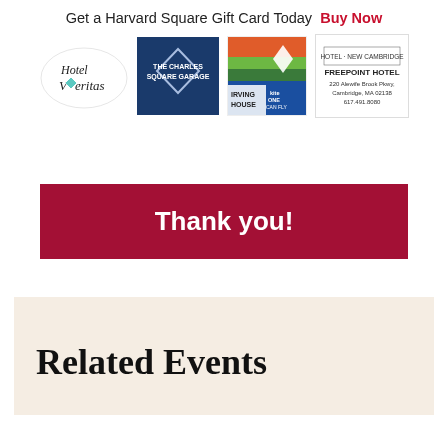Get a Harvard Square Gift Card Today  Buy Now
[Figure (logo): Hotel Veritas logo]
[Figure (logo): The Charles Square Garage logo]
[Figure (logo): Irving House logo with kite illustration]
[Figure (logo): Freepoint Hotel - 220 Alewife Brook Pkwy, Cambridge, MA 02138, 617.491.8000]
Thank you!
Related Events